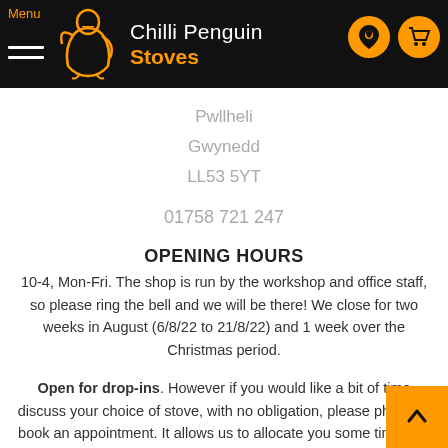Menu | Chilli Penguin Stoves
Pwllheli
Gwynedd
LL53 5YT
01758 721 247
OPENING HOURS
10-4, Mon-Fri. The shop is run by the workshop and office staff, so please ring the bell and we will be there! We close for two weeks in August (6/8/22 to 21/8/22) and 1 week over the Christmas period.
Open for drop-ins. However if you would like a bit of time discuss your choice of stove, with no obligation, please phone to book an appointment. It allows us to allocate you some time, get the stove lit and the shop cosy for you. The